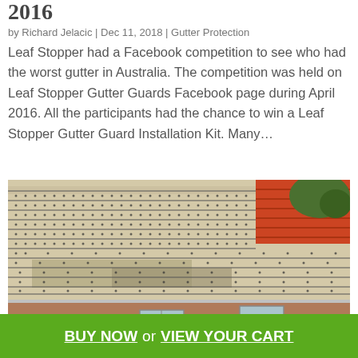2016
by Richard Jelacic | Dec 11, 2018 | Gutter Protection
Leaf Stopper had a Facebook competition to see who had the worst gutter in Australia. The competition was held on Leaf Stopper Gutter Guards Facebook page during April 2016. All the participants had the chance to win a Leaf Stopper Gutter Guard Installation Kit. Many…
[Figure (photo): Photo of a roof with terracotta tiles covered in debris and dirt, with a gutter visible along the bottom edge. Red roof tiles visible at top right, trees in background. Brick wall and windows visible below.]
BUY NOW or VIEW YOUR CART